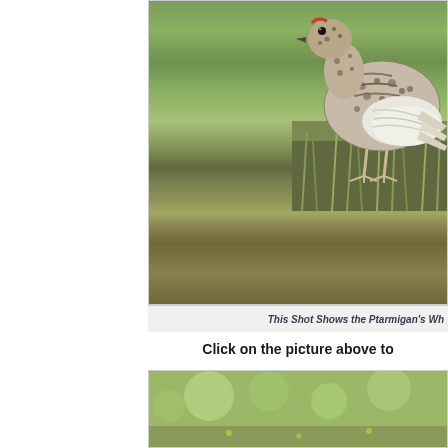[Figure (photo): A ptarmigan bird standing in grass/tundra vegetation, showing speckled brown and white plumage, photographed from the side. The bird's white wing feathers are partially visible on the right side.]
This Shot Shows the Ptarmigan's Wh
Click on the picture above to
[Figure (photo): A partially visible photograph showing a blurred green outdoor scene, likely another ptarmigan photo. Only the top portion is visible.]